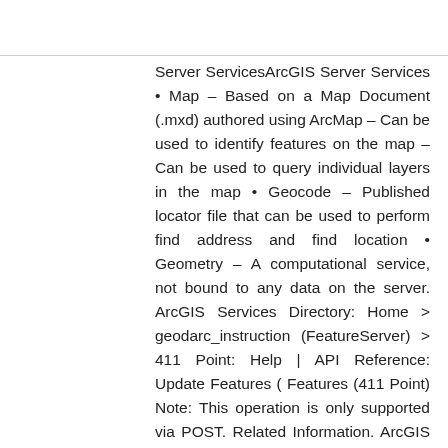Server ServicesArcGIS Server Services • Map – Based on a Map Document (.mxd) authored using ArcMap – Can be used to identify features on the map – Can be used to query individual layers in the map • Geocode – Published locator file that can be used to perform find address and find location • Geometry – A computational service, not bound to any data on the server. ArcGIS Services Directory: Home > geodarc_instruction (FeatureServer) > 411 Point: Help | API Reference: Update Features ( Features (411 Point) Note: This operation is only supported via POST. Related Information. ArcGIS JavaScript API: Features/SoilBorings (MapServer) Built using the ArcGIS API for JavaScriptArcGIS API for JavaScriptArcGIS REST Service